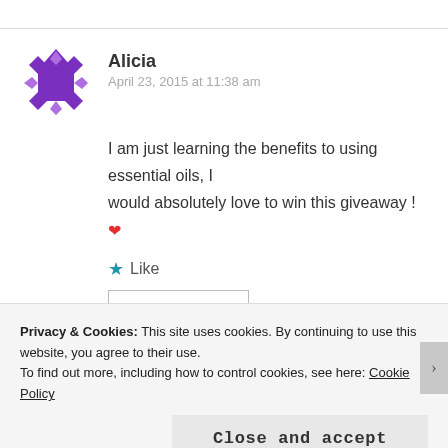Alicia
April 23, 2015 at 11:38 am
I am just learning the benefits to using essential oils, I would absolutely love to win this giveaway ! ❤
★ Like
REPLY
Alicia
April 23, 2015 at 11:40 am
Privacy & Cookies: This site uses cookies. By continuing to use this website, you agree to their use.
To find out more, including how to control cookies, see here: Cookie Policy
Close and accept